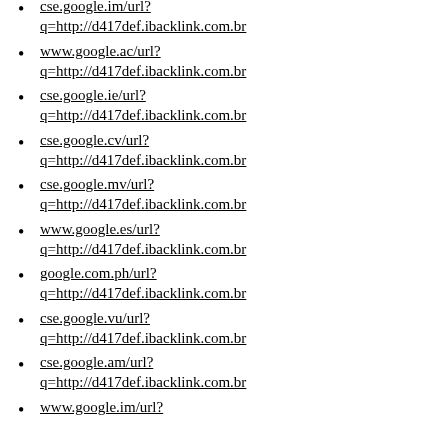cse.google.im/url?q=http://d417def.ibacklink.com.br
www.google.ac/url?q=http://d417def.ibacklink.com.br
cse.google.ie/url?q=http://d417def.ibacklink.com.br
cse.google.cv/url?q=http://d417def.ibacklink.com.br
cse.google.mv/url?q=http://d417def.ibacklink.com.br
www.google.es/url?q=http://d417def.ibacklink.com.br
google.com.ph/url?q=http://d417def.ibacklink.com.br
cse.google.vu/url?q=http://d417def.ibacklink.com.br
cse.google.am/url?q=http://d417def.ibacklink.com.br
www.google.im/url?q=http://d417def.ibacklink.com.br